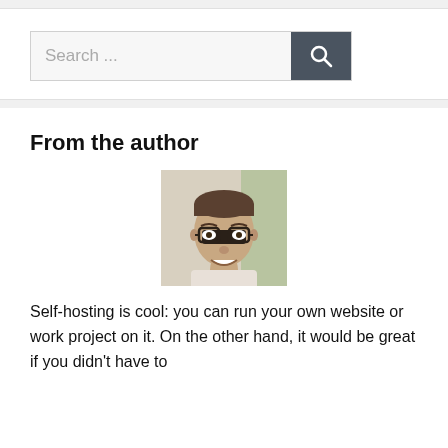[Figure (other): Search bar UI element with text input showing 'Search ...' placeholder and a dark search button with magnifying glass icon]
From the author
[Figure (photo): Portrait photo of a young man with glasses, short brown hair, smiling, wearing a light shirt, light background]
Self-hosting is cool: you can run your own website or work project on it. On the other hand, it would be great if you didn't have to